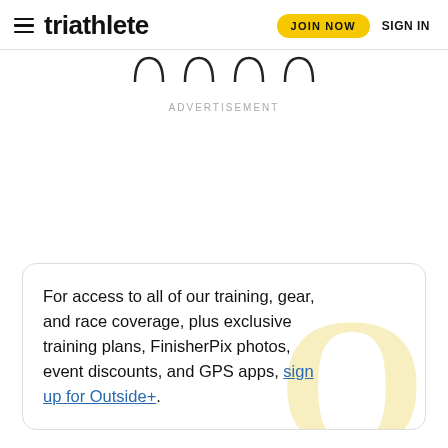triathlete  JOIN NOW  SIGN IN
[Figure (other): Four social media icon outlines (partial arcs visible at top of page)]
ADVERTISEMENT
For access to all of our training, gear, and race coverage, plus exclusive training plans, FinisherPix photos, event discounts, and GPS apps, sign up for Outside+.